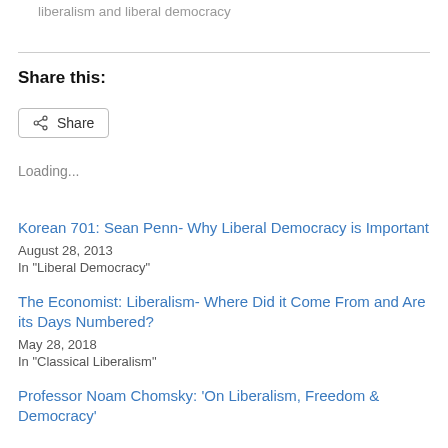liberalism and liberal democracy
Share this:
[Figure (other): Share button with share icon]
Loading...
Korean 701: Sean Penn- Why Liberal Democracy is Important
August 28, 2013
In "Liberal Democracy"
The Economist: Liberalism- Where Did it Come From and Are its Days Numbered?
May 28, 2018
In "Classical Liberalism"
Professor Noam Chomsky: ‘On Liberalism, Freedom & Democracy’